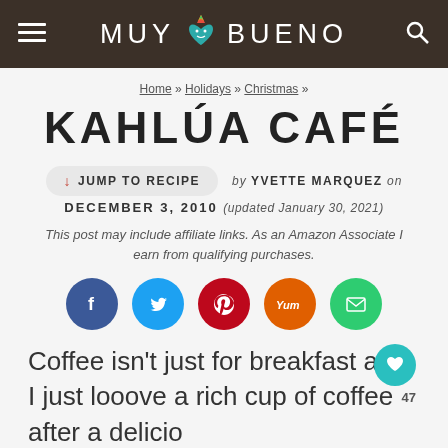MUY BUENO
Home » Holidays » Christmas »
KAHLÚA CAFÉ
↓ JUMP TO RECIPE  by YVETTE MARQUEZ on DECEMBER 3, 2010 (updated January 30, 2021)
This post may include affiliate links. As an Amazon Associate I earn from qualifying purchases.
[Figure (infographic): Social sharing buttons: Facebook (dark blue), Twitter (light blue), Pinterest (dark red), Yummly (orange), Email (green)]
Coffee isn't just for breakfast and I just looove a rich cup of coffee after a delicio home cooked meal. Better yet, add a sho